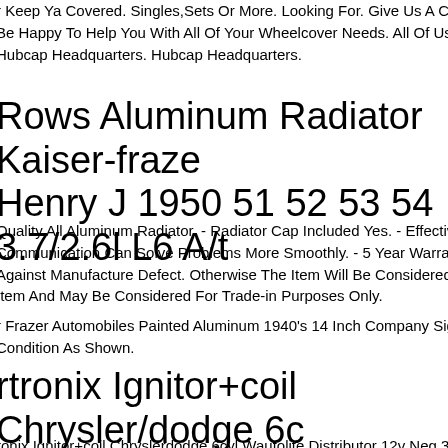r Keep Ya Covered. Singles,Sets Or More. Looking For. Give Us A Call. Will Be Happy To Help You With All Of Your Wheelcover Needs. All Of Us Here At Hubcap Headquarters. Hubcap Headquarters.
Rows Aluminum Radiator Kaiser-frazer Henry J 1950 51 52 53 54 3.7/2.6l L6 A/t
Quality All Aluminum Radiator. - Radiator Cap Included Yes. - Effective Communication Can Solve Problems More Smoothly. - 5 Year Warranty Against Manufacture Defect. Otherwise The Item Will Be Considered Used Item And May Be Considered For Trade-in Purposes Only.
r Frazer Automobiles Painted Aluminum 1940's 14 Inch Company Sign Kf. In Condition As Shown.
rtronix Ignitor+coil Chrysler/dodge 6cyl Wautolite Distributor 12v Neg 35-50
ronix Ignitor+coil Chryslerdodge 6cyl Wautolite Distributor 12v Neg 35-50.